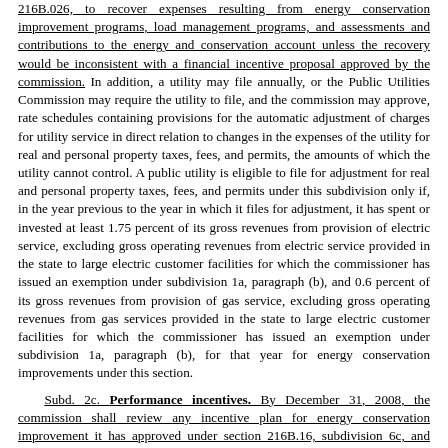216B.026, to recover expenses resulting from energy conservation improvement programs, load management programs, and assessments and contributions to the energy and conservation account unless the recovery would be inconsistent with a financial incentive proposal approved by the commission. In addition, a utility may file annually, or the Public Utilities Commission may require the utility to file, and the commission may approve, rate schedules containing provisions for the automatic adjustment of charges for utility service in direct relation to changes in the expenses of the utility for real and personal property taxes, fees, and permits, the amounts of which the utility cannot control. A public utility is eligible to file for adjustment for real and personal property taxes, fees, and permits under this subdivision only if, in the year previous to the year in which it files for adjustment, it has spent or invested at least 1.75 percent of its gross revenues from provision of electric service, excluding gross operating revenues from electric service provided in the state to large electric customer facilities for which the commissioner has issued an exemption under subdivision 1a, paragraph (b), and 0.6 percent of its gross revenues from provision of gas service, excluding gross operating revenues from gas services provided in the state to large electric customer facilities for which the commissioner has issued an exemption under subdivision 1a, paragraph (b), for that year for energy conservation improvements under this section.
Subd. 2c. Performance incentives. By December 31, 2008, the commission shall review any incentive plan for energy conservation improvement it has approved under section 216B.16, subdivision 6c, and adjust the utility performance incentives to recognize making progress toward and meeting the energy savings goals established in subdivision 1c.
Subd. 3. Ownership of energy conservation improvement. An energy conservation improvement made to or installed in a building in accordance with